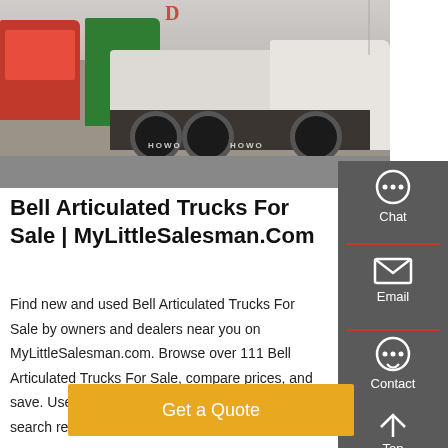[Figure (photo): Photo of HOWO articulated trucks parked in a lot, viewed from rear, with red and green trucks visible in background]
Bell Articulated Trucks For Sale | MyLittleSalesman.Com
Find new and used Bell Articulated Trucks For Sale by owners and dealers near you on MyLittleSalesman.com. Browse over 111 Bell Articulated Trucks For Sale, compare prices, and save. Use the buttons below to sort or filter your search results by ...
Get a Quote